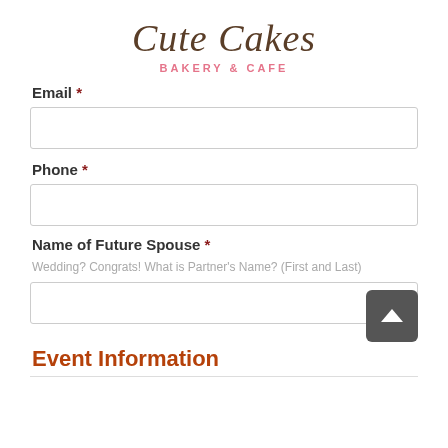Cute Cakes BAKERY & CAFE
Email *
Phone *
Name of Future Spouse *
Wedding? Congrats! What is Partner's Name? (First and Last)
Event Information